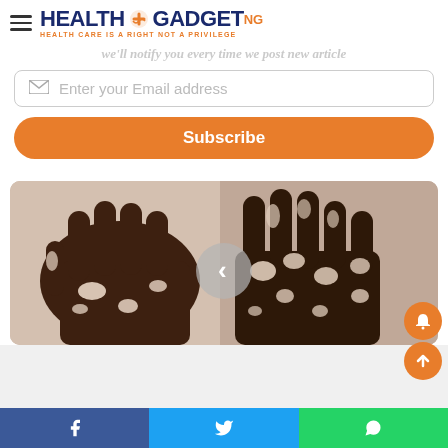[Figure (logo): Health Gadget NG logo with hamburger menu icon and tagline 'Health Care Is A Right Not A Privilege']
get the new updates! We'll notify you every time we post new article
Enter your Email address
Subscribe
[Figure (photo): Two dark-skinned hands showing vitiligo depigmentation patches with circular navigation arrow overlay]